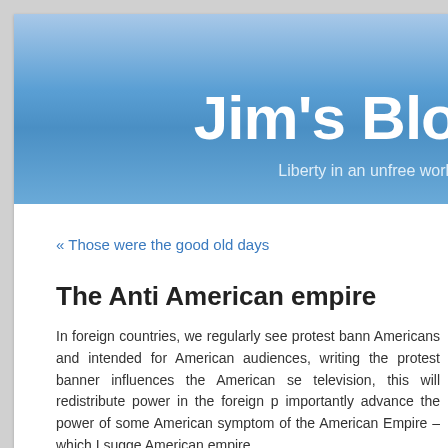Jim's Blo[g] — Liberty in an unfree world
« Those were the good old days
The Anti American empire
In foreign countries, we regularly see protest bann[ers written in English, by non-]Americans and intended for American audiences, [which suggests that] writing the protest banner influences the American se[nse of power. On] television, this will redistribute power in the foreign p[lace, and more] importantly advance the power of some American[s. This is a] symptom of the American Empire – which I sugge[st to call the] American empire.